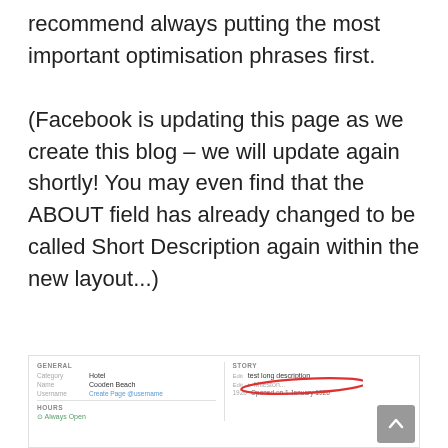recommend always putting the most important optimisation phrases first.

(Facebook is updating this page as we create this blog – we will update again shortly! You may even find that the ABOUT field has already changed to be called Short Description again within the new layout...)
[Figure (screenshot): Screenshot of a Facebook Page settings interface showing GENERAL and STORY sections. Category: Hotel, Name: Cooden Beach, Username field, Hours section with Always Open. The STORY section shows 'test long description' text circled in red/orange, with Edit links and milestone info showing '1926 Opened on 1 January 1926'. A back-to-top arrow button appears in the bottom right.]